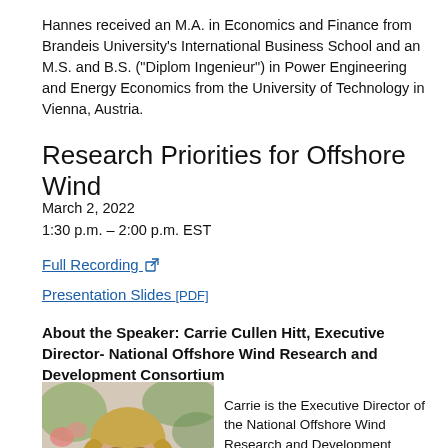Hannes received an M.A. in Economics and Finance from Brandeis University's International Business School and an M.S. and B.S. ("Diplom Ingenieur") in Power Engineering and Energy Economics from the University of Technology in Vienna, Austria.
Research Priorities for Offshore Wind
March 2, 2022
1:30 p.m. – 2:00 p.m. EST
Full Recording [external link]
Presentation Slides [PDF]
About the Speaker: Carrie Cullen Hitt, Executive Director- National Offshore Wind Research and Development Consortium
[Figure (photo): Headshot photo of Carrie Cullen Hitt, a woman with shoulder-length blonde hair, smiling slightly, with flowers in the background.]
Carrie is the Executive Director of the National Offshore Wind Research and Development Consortium, dedicated to ...